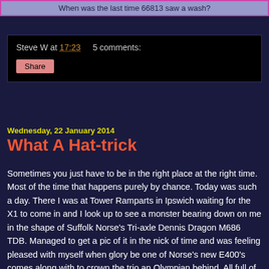When was the last time 66813 saw a wash?
Steve W at 17:23   5 comments:
Share
Wednesday, 22 January 2014
What A Hat-trick
Sometimes you just have to be in the right place at the right time. Most of the time that happens purely by chance. Today was such a day. There I was at Tower Ramparts in Ipswich waiting for the X1 to come in and I look up to see a monster bearing down on me in the shape of Suffolk Norse's Tri-axle Dennis Dragon M686 TDB. Managed to get a pic of it in the nick of time and was feeling pleased with myself when glory be one of Norse's new E400's comes along with to crown the trio an Olympian behind. All full of school kids blissfully unaware of how lucky they were!